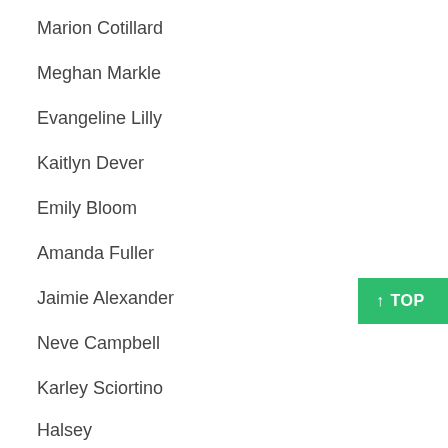Marion Cotillard
Meghan Markle
Evangeline Lilly
Kaitlyn Dever
Emily Bloom
Amanda Fuller
Jaimie Alexander
Neve Campbell
Karley Sciortino
Halsey